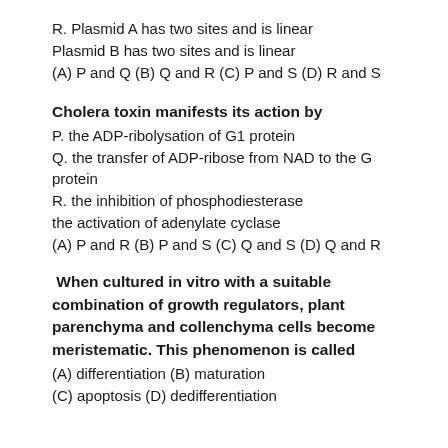R. Plasmid A has two sites and is linear
Plasmid B has two sites and is linear
(A) P and Q (B) Q and R (C) P and S (D) R and S
Cholera toxin manifests its action by
P. the ADP-ribolysation of G1 protein
Q. the transfer of ADP-ribose from NAD to the G protein
R. the inhibition of phosphodiesterase
the activation of adenylate cyclase
(A) P and R (B) P and S (C) Q and S (D) Q and R
When cultured in vitro with a suitable combination of growth regulators, plant parenchyma and collenchyma cells become meristematic. This phenomenon is called
(A) differentiation (B) maturation
(C) apoptosis (D) dedifferentiation